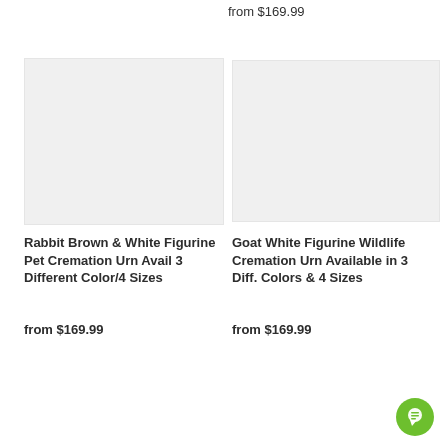from $169.99
[Figure (photo): Rabbit Brown & White Figurine Pet Cremation Urn - placeholder product image with light gray background]
Rabbit Brown & White Figurine Pet Cremation Urn Avail 3 Different Color/4 Sizes
from $169.99
[Figure (photo): Goat White Figurine Wildlife Cremation Urn - placeholder product image with light gray background]
Goat White Figurine Wildlife Cremation Urn Available in 3 Diff. Colors & 4 Sizes
from $169.99
[Figure (other): Green circular live chat button icon in the bottom right corner]